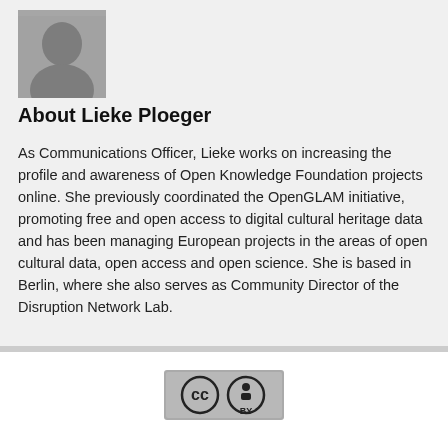[Figure (photo): Black and white portrait photo of Lieke Ploeger]
About Lieke Ploeger
As Communications Officer, Lieke works on increasing the profile and awareness of Open Knowledge Foundation projects online. She previously coordinated the OpenGLAM initiative, promoting free and open access to digital cultural heritage data and has been managing European projects in the areas of open cultural data, open access and open science. She is based in Berlin, where she also serves as Community Director of the Disruption Network Lab.
[Figure (logo): Creative Commons BY license badge showing CC and BY icons on grey background]
This work is licensed under a Creative Commons Attribution 4.0 International License.
Tweets by OKFN